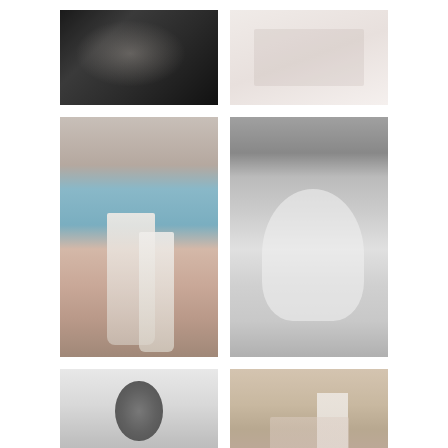[Figure (photo): Close-up photo of dark floral fabric or hair accessory against dark background]
[Figure (photo): Light pink or cream stationery/card on soft background]
[Figure (photo): Woman in floral robe holding champagne glasses, color photo]
[Figure (photo): Black and white photo of hands buttoning back of wedding dress]
[Figure (photo): Black and white photo of bride from behind showing updo hairstyle and bare back]
[Figure (photo): Color photo of two women in bridesmaids dresses standing together in a brick venue by window]